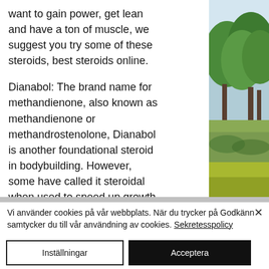want to gain power, get lean and have a ton of muscle, we suggest you try some of these steroids, best steroids online.
Dianabol: The brand name for methandienone, also known as methandienone or methandrostenolone, Dianabol is another foundational steroid in bodybuilding. However, some have called it steroidal when used to speed up growth and decrease the body fat around the thighs or hips.
[Figure (photo): Outdoor nature photo showing trees with green foliage reflected in water, taken in a park or forest setting.]
Vi använder cookies på vår webbplats. När du trycker på Godkänn samtycker du till vår användning av cookies. Sekretesspolicy